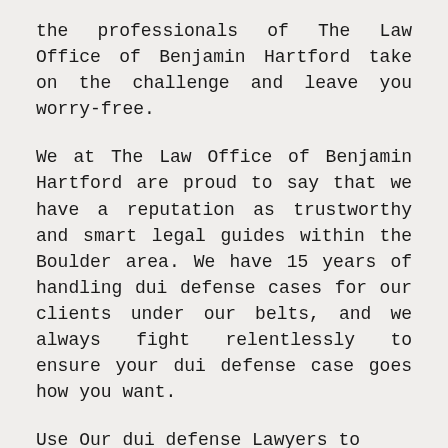the professionals of The Law Office of Benjamin Hartford take on the challenge and leave you worry-free.
We at The Law Office of Benjamin Hartford are proud to say that we have a reputation as trustworthy and smart legal guides within the Boulder area. We have 15 years of handling dui defense cases for our clients under our belts, and we always fight relentlessly to ensure your dui defense case goes how you want.
Use Our dui defense Lawyers to Help You Out!
The Law Office of Benjamin Hartford thrives on being able to provide thorough and efficient defense for clients facing dui defense charges in the Boulder area. When your back is against the wall, call us at (303) 991-5757 to receive